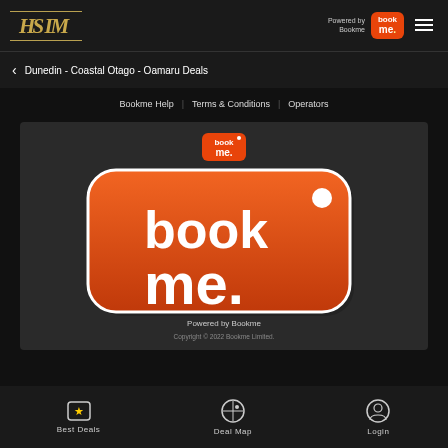HSIM | Powered by Bookme
Dunedin - Coastal Otago - Oamaru Deals
Bookme Help | Terms & Conditions | Operators
[Figure (logo): Bookme logo on dark background — orange rounded-rectangle tag shape with white text reading 'book me.' and a small circular dot. A smaller Bookme badge logo at the top center. 'Powered by Bookme' and 'Copyright © 2022 Bookme Limited.' text at the bottom of the image.]
Best Deals | Deal Map | Login